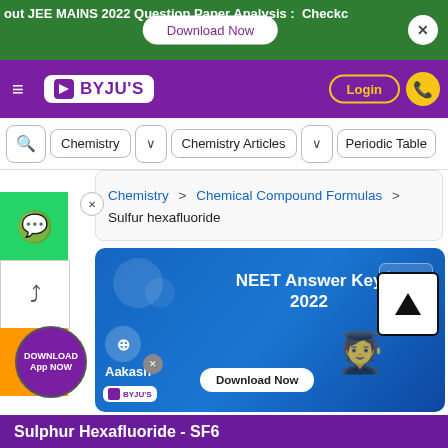out JEE MAINS 2022 Question Paper Analysis : Checkc
[Figure (screenshot): BYJU'S website screenshot showing navigation bar with Login button and phone icon]
Chemistry > Chemical Compound Formulas > Sulfur hexafluoride
[Figure (infographic): Aakash BYJU'S NEET Answer Key 2022 advertisement banner with Download Now button]
Sulphur Hexafluoride - SF6